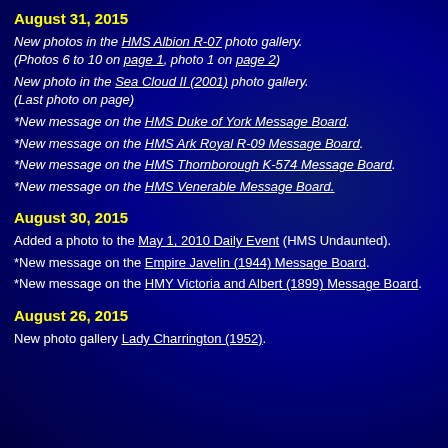August 31, 2015
New photos in the HMS Albion R-07 photo gallery. (Photos 6 to 10 on page 1, photo 1 on page 2)
New photo in the Sea Cloud II (2001) photo gallery. (Last photo on page)
*New message on the HMS Duke of York Message Board.
*New message on the HMS Ark Royal R-09 Message Board.
*New message on the HMS Thornborough K-574 Message Board.
*New message on the HMS Venerable Message Board.
August 30, 2015
Added a photo to the May 1, 2010 Daily Event (HMS Undaunted).
*New message on the Empire Javelin (1944) Message Board.
*New message on the HMY Victoria and Albert (1899) Message Board.
August 26, 2015
New photo gallery Lady Charrington (1952).